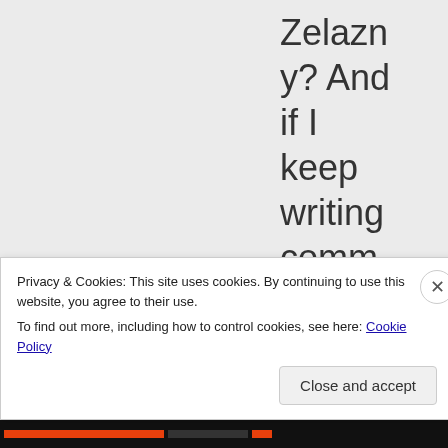Zelazny? And if I keep writing comments longer than 140 charac
Privacy & Cookies: This site uses cookies. By continuing to use this website, you agree to their use. To find out more, including how to control cookies, see here: Cookie Policy
Close and accept